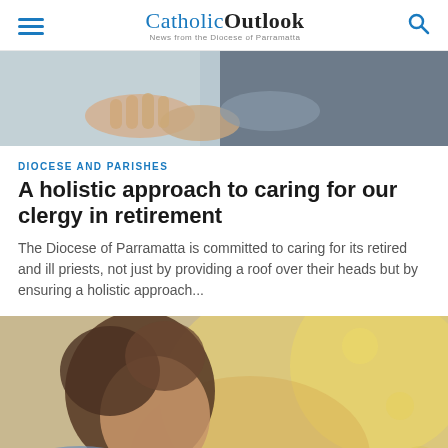CatholicOutlook — News from the Diocese of Parramatta
[Figure (photo): Close-up photograph of two people's hands, one person in a light shirt and another in a dark vest, appearing to be in conversation or gesture]
DIOCESE AND PARISHES
A holistic approach to caring for our clergy in retirement
The Diocese of Parramatta is committed to caring for its retired and ill priests, not just by providing a roof over their heads but by ensuring a holistic approach...
[Figure (photo): Close-up photograph of a young child with brown hair leaning forward looking at a small green plant, with warm golden bokeh background lighting]